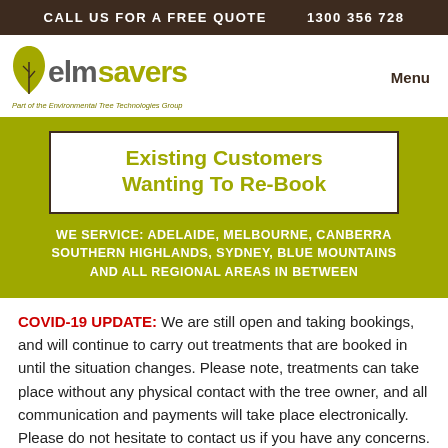CALL US FOR A FREE QUOTE    1300 356 728
[Figure (logo): Elm Savers logo with leaf icon and tagline 'Part of the Environmental Tree Technologies Group']
Menu
Existing Customers Wanting To Re-Book
WE SERVICE: ADELAIDE, MELBOURNE, CANBERRA SOUTHERN HIGHLANDS, SYDNEY, BLUE MOUNTAINS AND ALL REGIONAL AREAS IN BETWEEN
COVID-19 UPDATE: We are still open and taking bookings, and will continue to carry out treatments that are booked in until the situation changes. Please note, treatments can take place without any physical contact with the tree owner, and all communication and payments will take place electronically. Please do not hesitate to contact us if you have any concerns. All our